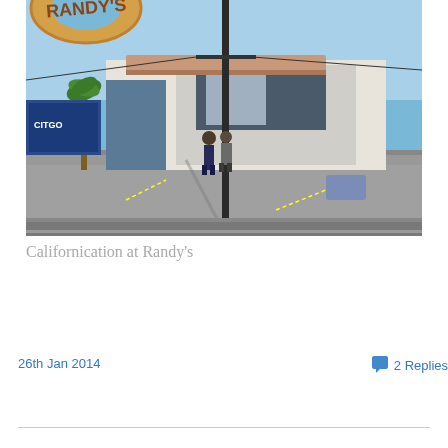[Figure (photo): Street-level photo of Randy's Donuts shop with a large donut on the roof, a utility pole in the foreground, a CITGO or similar gas station sign to the left, palm trees, parking lot, and two people standing near the entrance. Sunny California day with blue sky.]
Californication at Randy's
26th Jan 2014
2 Replies